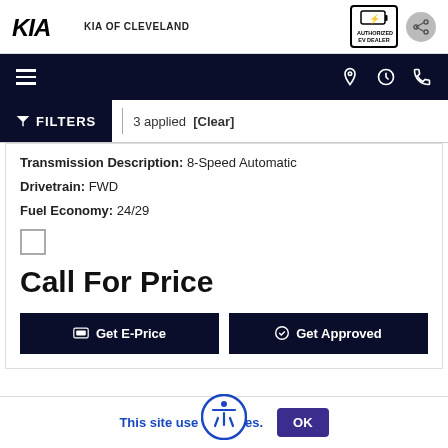KIA OF CLEVELAND
Transmission Description: 8-Speed Automatic
Drivetrain: FWD
Fuel Economy: 24/29
Call For Price
Get E-Price
Get Approved
This site uses cookies.